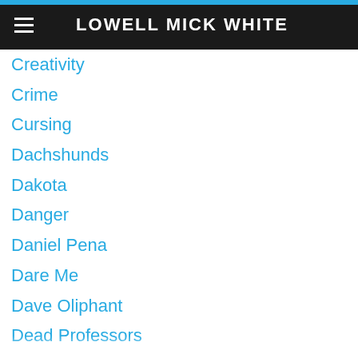LOWELL MICK WHITE
Creativity
Crime
Cursing
Dachshunds
Dakota
Danger
Daniel Pena
Dare Me
Dave Oliphant
Dead Professors
Deep Eddy
Denver
Depression
Desk
Destroy All Monsters
Deven Green
Diane Keaton